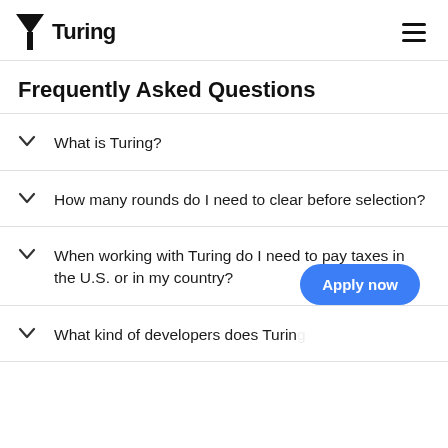Turing
Frequently Asked Questions
What is Turing?
How many rounds do I need to clear before selection?
When working with Turing do I need to pay taxes in the U.S. or in my country?
What kind of developers does Turing